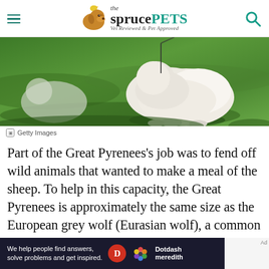the spruce PETS — Vet Reviewed & Pet Approved
[Figure (photo): A large fluffy white Great Pyrenees dog on a green grassy hillside, photographed from behind/side, with a dark leash visible]
Getty Images
Part of the Great Pyrenees's job was to fend off wild animals that wanted to make a meal of the sheep. To help in this capacity, the Great Pyrenees is approximately the same size as the European grey wolf (Eurasian wolf), a common predator the dogs encountered while guarding
[Figure (infographic): Ad banner: 'We help people find answers, solve problems and get inspired.' with Dotdash Meredith logo]